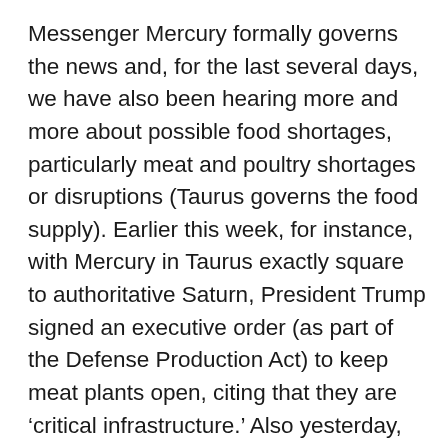Messenger Mercury formally governs the news and, for the last several days, we have also been hearing more and more about possible food shortages, particularly meat and poultry shortages or disruptions (Taurus governs the food supply). Earlier this week, for instance, with Mercury in Taurus exactly square to authoritative Saturn, President Trump signed an executive order (as part of the Defense Production Act) to keep meat plants open, citing that they are ‘critical infrastructure.’ Also yesterday, we heard a bit of positive news about breakthrough results (Mercury-Uranus) concerning a clinical study involving hospitalized COVID-19 patients who responded positively to Remdesivir, an antiviral drug experimentally used for treating the virus. The FDA is now reportedly moving at ‘lightning speed’ (Uranus!) to review data on the drug to